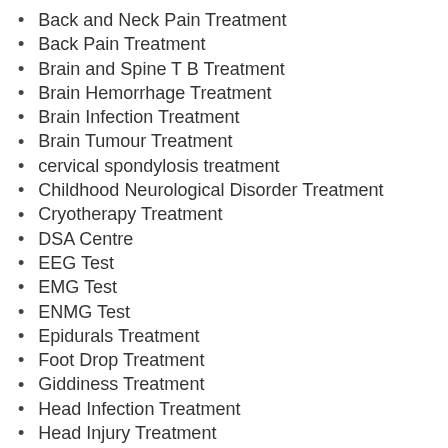Back and Neck Pain Treatment
Back Pain Treatment
Brain and Spine T B Treatment
Brain Hemorrhage Treatment
Brain Infection Treatment
Brain Tumour Treatment
cervical spondylosis treatment
Childhood Neurological Disorder Treatment
Cryotherapy Treatment
DSA Centre
EEG Test
EMG Test
ENMG Test
Epidurals Treatment
Foot Drop Treatment
Giddiness Treatment
Head Infection Treatment
Head Injury Treatment
Headache Management